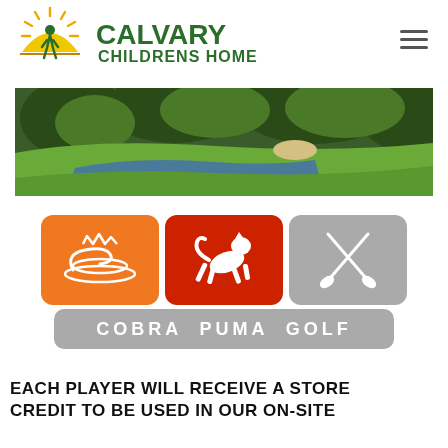[Figure (logo): Calvary Childrens Home logo with sun and person silhouette icon and green text]
[Figure (photo): Golf course aerial photo showing green fairway with water hazard and trees]
[Figure (logo): Cobra Puma Golf sponsor logos: Cobra (orange box), Puma (red box with jumping cat), Golf crossed clubs (grey box), with COBRA PUMA GOLF grey banner below]
EACH PLAYER WILL RECEIVE A STORE CREDIT TO BE USED IN OUR ON-SITE